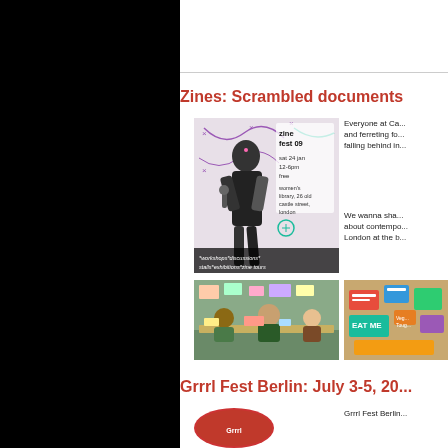Zines: Scrambled documents
[Figure (photo): Zine Fest 09 poster featuring woman in saree holding a microphone, with text: zine fest 09, sat 24 jan, 12-6pm, free, women's library, 26 old castle street, london, www.myspace.com/zinefest, *workshops*discussions* stalls*exhibitions*zine tours]
Everyone at Ca... and ferreting fo... falling behind in...
We wanna sha... about contempo... London at the b...
[Figure (photo): People sitting at a table working on zines/crafts]
[Figure (photo): Collection of zines and items including EAT ME label]
Grrrl Fest Berlin: July 3-5, 20...
[Figure (illustration): Red circular logo/image for Grrrl Fest Berlin]
Grrrl Fest Berlin...